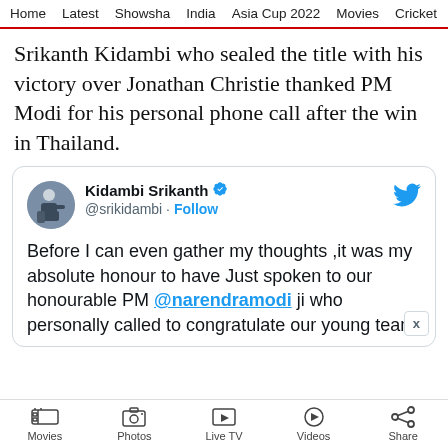Home | Latest | Showsha | India | Asia Cup 2022 | Movies | Cricket
Srikanth Kidambi who sealed the title with his victory over Jonathan Christie thanked PM Modi for his personal phone call after the win in Thailand.
[Figure (screenshot): Embedded tweet from @srikidambi (Kidambi Srikanth) with verified badge and Follow button. Tweet text: Before I can even gather my thoughts ,it was my absolute honour to have Just spoken to our honourable PM @narendramodi ji who personally called to congratulate our young team]
Movies | Photos | Live TV | Videos | Share